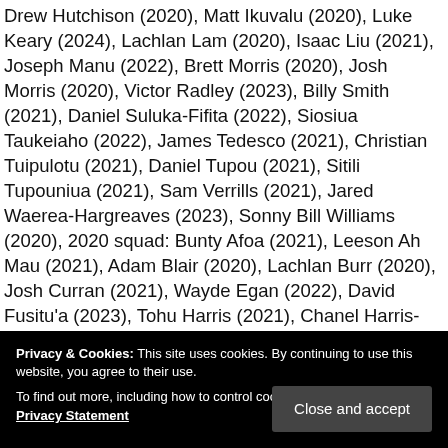Drew Hutchison (2020), Matt Ikuvalu (2020), Luke Keary (2024), Lachlan Lam (2020), Isaac Liu (2021), Joseph Manu (2022), Brett Morris (2020), Josh Morris (2020), Victor Radley (2023), Billy Smith (2021), Daniel Suluka-Fifita (2022), Siosiua Taukeiaho (2022), James Tedesco (2021), Christian Tuipulotu (2021), Daniel Tupou (2021), Sitili Tupouniua (2021), Sam Verrills (2021), Jared Waerea-Hargreaves (2023), Sonny Bill Williams (2020), 2020 squad: Bunty Afoa (2021), Leeson Ah Mau (2021), Adam Blair (2020), Lachlan Burr (2020), Josh Curran (2021), Wayde Egan (2022), David Fusitu'a (2023), Tohu Harris (2021), Chanel Harris-Tavita (2022), Peta Hiku (2... La... Ja... Pa... Ja... Tuivasa-Sheck (2022), 2021 gains: Kane Evans (from Eels
Privacy & Cookies: This site uses cookies. By continuing to use this website, you agree to their use. To find out more, including how to control cookies, see here: Cookie & Privacy Statement